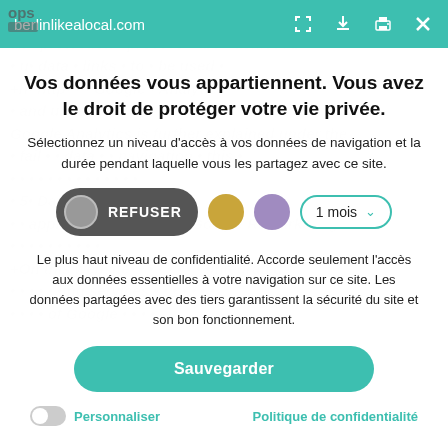berlinlikealocal.com
Vos données vous appartiennent. Vous avez le droit de protéger votre vie privée.
Sélectionnez un niveau d'accès à vos données de navigation et la durée pendant laquelle vous les partagez avec ce site.
[Figure (screenshot): Cookie consent controls: REFUSER toggle button (dark), gold dot, purple dot, and '1 mois' dropdown with teal border]
Le plus haut niveau de confidentialité. Accorde seulement l'accès aux données essentielles à votre navigation sur ce site. Les données partagées avec des tiers garantissent la sécurité du site et son bon fonctionnement.
Sauvegarder
Personnaliser    Politique de confidentialité